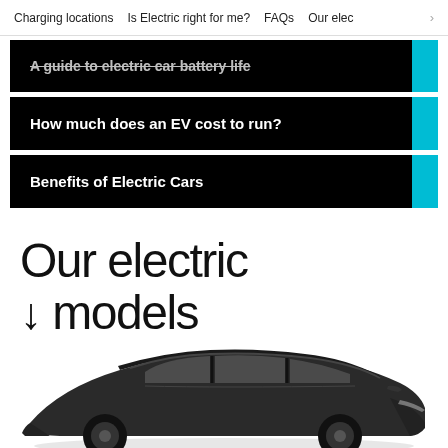Charging locations  Is Electric right for me?  FAQs  Our elec >
A guide to electric car battery life
How much does an EV cost to run?
Benefits of Electric Cars
Our electric ↓ models
[Figure (photo): Partial view of a dark-colored electric car (SUV/estate), shown from the side, bottom portion of the page.]